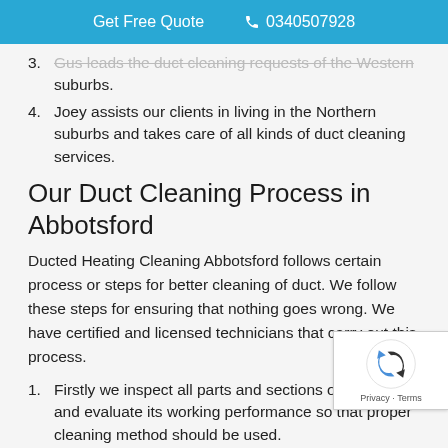Get Free Quote  📞 0340507928
3. Gus leads the duct cleaning requests of the Western suburbs.
4. Joey assists our clients in living in the Northern suburbs and takes care of all kinds of duct cleaning services.
Our Duct Cleaning Process in Abbotsford
Ducted Heating Cleaning Abbotsford follows certain process or steps for better cleaning of duct. We follow these steps for ensuring that nothing goes wrong. We have certified and licensed technicians that carry out this process.
1. Firstly we inspect all parts and sections of the duct and evaluate its working performance so that proper cleaning method should be used.
2. We look out for dust, dirt and dropping of animals clean it with an active cleaning agent.